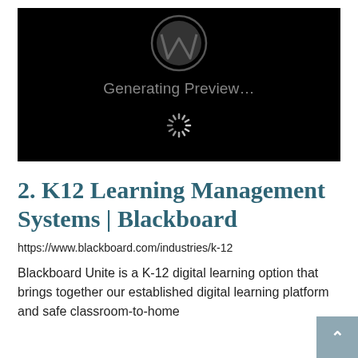[Figure (screenshot): Black screenshot placeholder showing WordPress logo at top, text 'Generating Preview...' in gray, and a loading spinner below on a black background]
2. K12 Learning Management Systems | Blackboard
https://www.blackboard.com/industries/k-12
Blackboard Unite is a K-12 digital learning option that brings together our established digital learning platform and safe classroom-to-home